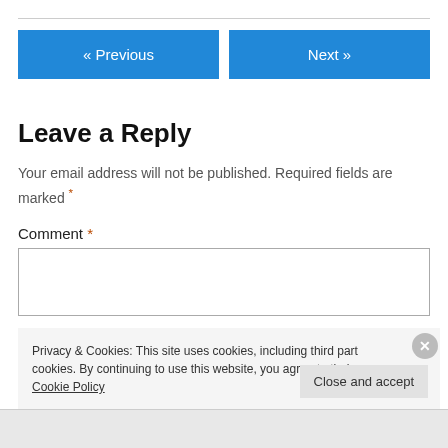« Previous
Next »
Leave a Reply
Your email address will not be published. Required fields are marked *
Comment *
Privacy & Cookies: This site uses cookies, including third part cookies. By continuing to use this website, you agree to their use. Cookie Policy
Close and accept